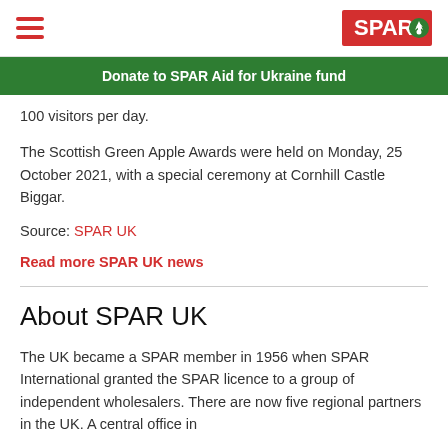SPAR
Donate to SPAR Aid for Ukraine fund
100 visitors per day.
The Scottish Green Apple Awards were held on Monday, 25 October 2021, with a special ceremony at Cornhill Castle Biggar.
Source: SPAR UK
Read more SPAR UK news
About SPAR UK
The UK became a SPAR member in 1956 when SPAR International granted the SPAR licence to a group of independent wholesalers. There are now five regional partners in the UK. A central office in